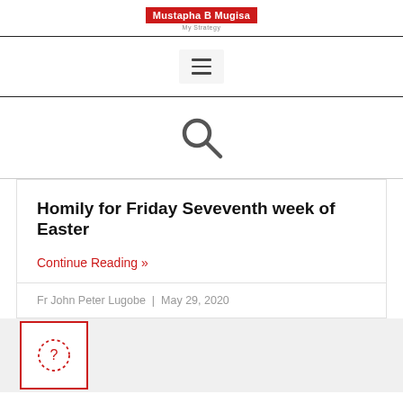Mustapha B Mugisa
[Figure (other): Hamburger menu icon (three horizontal lines) on a light gray background]
[Figure (other): Search magnifying glass icon in dark gray]
Homily for Friday Seveventh week of Easter
Continue Reading »
Fr John Peter Lugobe  |  May 29, 2020
[Figure (other): Question mark icon inside a dashed circle, framed by a red rectangle border]